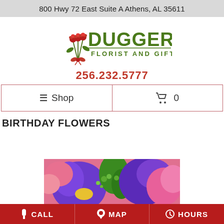800 Hwy 72 East Suite A Athens, AL 35611
[Figure (logo): Dugger's Florist and Gifts logo with red roses and green text]
256.232.5777
≡ Shop
🛒 0
BIRTHDAY FLOWERS
[Figure (photo): Close-up photo of colorful birthday flowers including purple iris, pink gerbera daisies, pink carnations, and green foliage]
CALL   MAP   HOURS